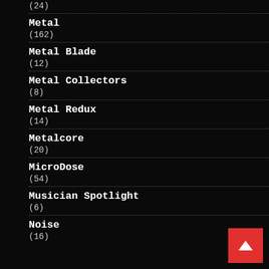(24)
Metal
(162)
Metal Blade
(12)
Metal Collectors
(8)
Metal Redux
(14)
Metalcore
(20)
MicroDose
(54)
Musician Spotlight
(6)
Noise
(16)